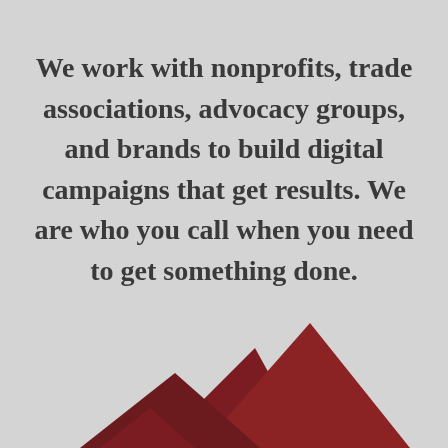We work with nonprofits, trade associations, advocacy groups, and brands to build digital campaigns that get results. We are who you call when you need to get something done.
[Figure (illustration): Partial view of dark red/maroon geometric shapes (overlapping triangles or mountain-like peaks) visible at the bottom of the page.]